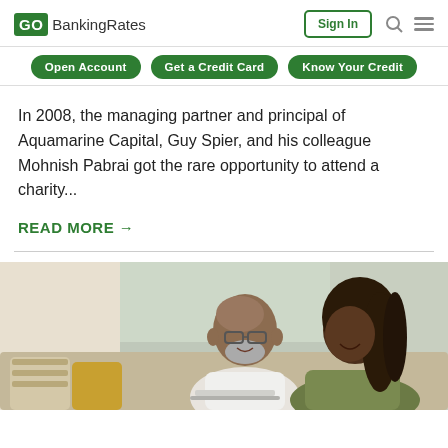GOBankingRates | Sign In
Open Account
Get a Credit Card
Know Your Credit
In 2008, the managing partner and principal of Aquamarine Capital, Guy Spier, and his colleague Mohnish Pabrai got the rare opportunity to attend a charity...
READ MORE →
[Figure (photo): An older couple, a bald man with glasses and beard and a woman with long locs, smiling and looking at a laptop together on a couch with decorative pillows]